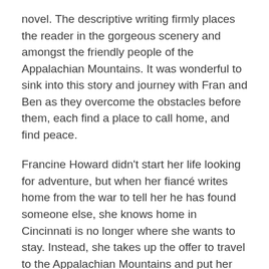novel. The descriptive writing firmly places the reader in the gorgeous scenery and amongst the friendly people of the Appalachian Mountains. It was wonderful to sink into this story and journey with Fran and Ben as they overcome the obstacles before them, each find a place to call home, and find peace.
Francine Howard didn't start her life looking for adventure, but when her fiancé writes home from the war to tell her he has found someone else, she knows home in Cincinnati is no longer where she wants to stay. Instead, she takes up the offer to travel to the Appalachian Mountains and put her training as a nurse to use as one of the Frontier Nurses. It is a vast change in culture, but Fran soon feels at home there. Ben Locke has spent many years away at war and wants nothing more than to return to his home in the mountains. He isn't sure what his future holds, but the kind nurse with the amazing smile draws him like no one has before.